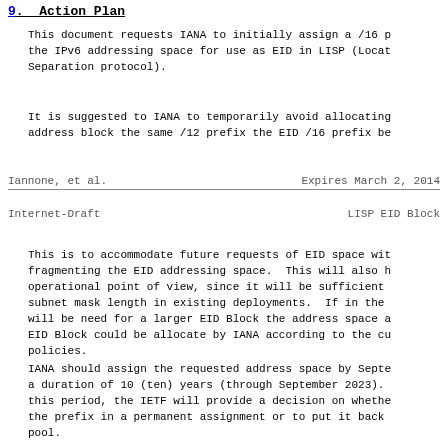9.  Action Plan
This document requests IANA to initially assign a /16 p the IPv6 addressing space for use as EID in LISP (Locat Separation protocol).
It is suggested to IANA to temporarily avoid allocating address block the same /12 prefix the EID /16 prefix be
Iannone, et al.                    Expires March 2, 2014
Internet-Draft                    LISP EID Block
This is to accommodate future requests of EID space wit fragmenting the EID addressing space.  This will also h operational point of view, since it will be sufficient subnet mask length in existing deployments.  If in the will be need for a larger EID Block the address space a EID Block could be allocate by IANA according to the cu policies.
IANA should assign the requested address space by Septe a duration of 10 (ten) years (through September 2023). this period, the IETF will provide a decision on whethe the prefix in a permanent assignment or to put it back pool.